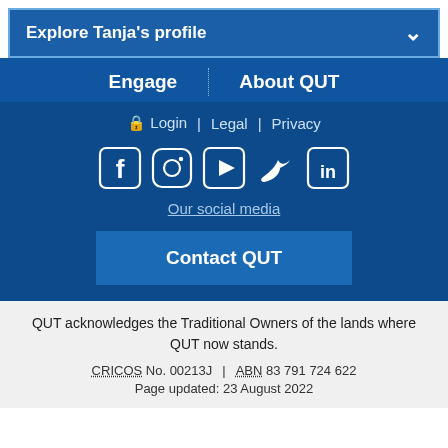Explore Tanja's profile
Engage | About QUT
Login | Legal | Privacy
[Figure (infographic): Social media icons: Facebook, Instagram, YouTube, Twitter, LinkedIn]
Our social media
Contact QUT
QUT acknowledges the Traditional Owners of the lands where QUT now stands.
CRICOS No. 00213J | ABN 83 791 724 622
Page updated: 23 August 2022